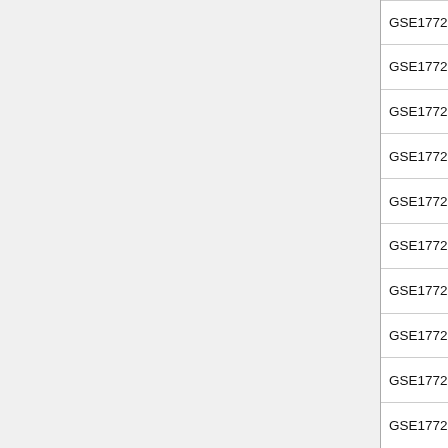| GSE17721_LPS_VS_PAM3CSK4_2H_BMDM_D... |
| GSE17721_LPS_VS_PAM3CSK4_2H_BMDM_U... |
| GSE17721_LPS_VS_PAM3CSK4_4H_BMDM_D... |
| GSE17721_LPS_VS_PAM3CSK4_4H_BMDM_U... |
| GSE17721_LPS_VS_PAM3CSK4_6H_BMDM_D... |
| GSE17721_LPS_VS_PAM3CSK4_6H_BMDM_U... |
| GSE17721_LPS_VS_PAM3CSK4_8H_BMDM_D... |
| GSE17721_LPS_VS_PAM3CSK4_8H_BMDM_U... |
| GSE17721_LPS_VS_POLYIC_0.5H_BMDM_DN... |
| GSE17721_LPS_VS_POLYIC_0.5H_BMDM_U... |